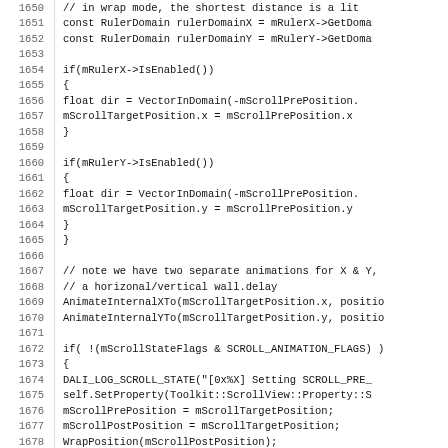Source code listing, lines 1650-1682, C++ scroll view animation logic